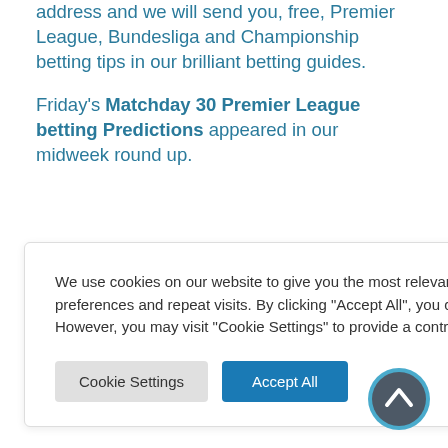address and we will send you, free, Premier League, Bundesliga and Championship betting tips in our brilliant betting guides.
Friday's Matchday 30 Premier League betting Predictions appeared in our midweek round up.
We use cookies on our website to give you the most relevant experience by remembering your preferences and repeat visits. By clicking "Accept All", you consent to the use of ALL the cookies. However, you may visit "Cookie Settings" to provide a controlled consent.